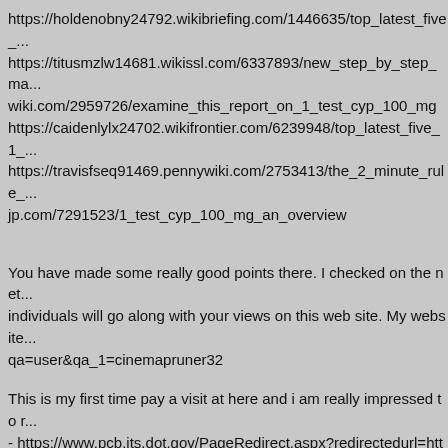https://holdenobny24792.wikibriefing.com/1446635/top_latest_five_...
https://titusmzlw14681.wikissl.com/6337893/new_step_by_step_ma...
wiki.com/2959726/examine_this_report_on_1_test_cyp_100_mg
https://caidenlylx24702.wikifrontier.com/6239948/top_latest_five_1_...
https://travisfseq91469.pennywiki.com/2753413/the_2_minute_rule_...
jp.com/7291523/1_test_cyp_100_mg_an_overview
You have made some really good points there. I checked on the net... individuals will go along with your views on this web site. My website... qa=user&qa_1=cinemapruner32
This is my first time pay a visit at here and i am really impressed to r... - https://www.pcb.its.dot.gov/PageRedirect.aspx?redirectedurl=https...
You have made some really good points there. I checked on the net... individuals will go along with your views on this web site. Feel free to... http://answers.codelair.com/index.php?qa=user&qa_1=cinemaprune...
This is my first time pay a visit at here and i am really impressed to r...
https://erickfrep81368.wikipresses.com/3091978/details_fiction_and_...
https://travisfseq91469.pennywiki.com/2753413/the_2_minute_rule_...
https://garrettbozl79246.eqnextwiki.com/3046771/how_much_you_n...
https://manuelkxkw14691.wikigdia.com/5173077/getting_my_1_test_...
https://erickfrep81368.wikilentilles.com/7794853/1_test_cyp_100_...